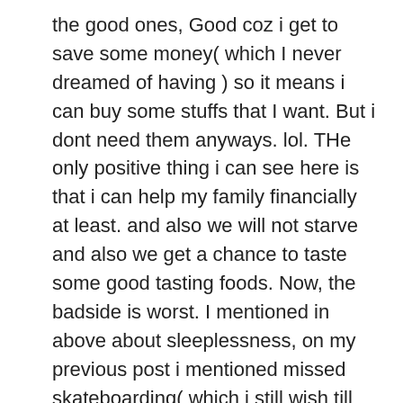the good ones, Good coz i get to save some money( which I never dreamed of having ) so it means i can buy some stuffs that I want. But i dont need them anyways. lol. THe only positive thing i can see here is that i can help my family financially at least. and also we will not starve and also we get a chance to taste some good tasting foods. Now, the badside is worst. I mentioned in above about sleeplessness, on my previous post i mentioned missed skateboarding( which i still wish till now ), and also my fun and relaxing time is gone.
These i think already signifies that my life is starting to change. well i still have long hair,Â listen to bob marley, same shy attitude, still pretends to be boastful to friends. lol. But the usual hang outs were gone, the moments were i get drunk with my buddies, the moments were we kill the time by walking and walking and walking, the moments when we talk about how politics and government sucks, the moment we share our faith. In short, i seem to be living alone with my